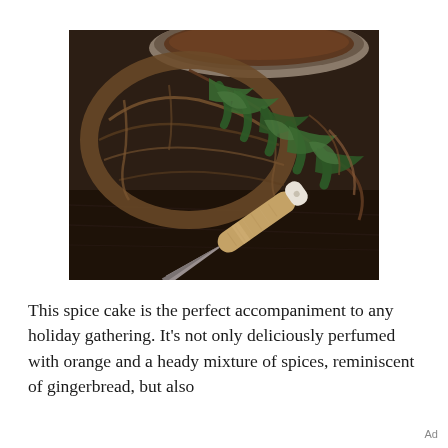[Figure (photo): Dark moody photograph showing a wicker wreath, evergreen cedar/juniper branches, a kitchen knife with wooden handle and white ceramic bolster, and a round baking pan with chocolate cake visible at the top, all arranged on a dark wooden surface.]
This spice cake is the perfect accompaniment to any holiday gathering. It's not only deliciously perfumed with orange and a heady mixture of spices, reminiscent of gingerbread, but also
Ad